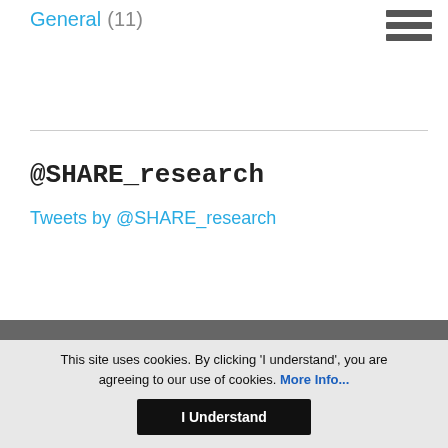General (11)
@SHARE_research
Tweets by @SHARE_research
This site uses cookies. By clicking 'I understand', you are agreeing to our use of cookies. More Info...